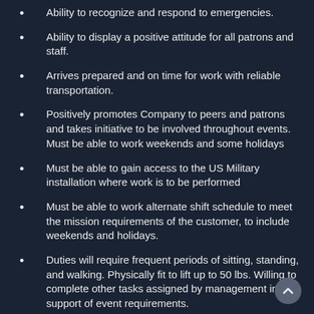Ability to recognize and respond to emergencies.
Ability to display a positive attitude for all patrons and staff.
Arrives prepared and on time for work with reliable transportation.
Positively promotes Company to peers and patrons and takes initiative to be involved throughout events. Must be able to work weekends and some holidays
Must be able to gain access to the US Military installation where work is to be performed
Must be able to work alternate shift schedule to meet the mission requirements of the customer, to include weekends and holidays.
Duties will require frequent periods of sitting, standing, and walking. Physically fit to lift up to 50 lbs. Willing to complete other tasks assigned by management in support of event requirements.
Must have and maintain a valid state driver's license to operate a Company vehicle. Must have a safe driving record, as defined by Company policy, to operate a company vehicle.